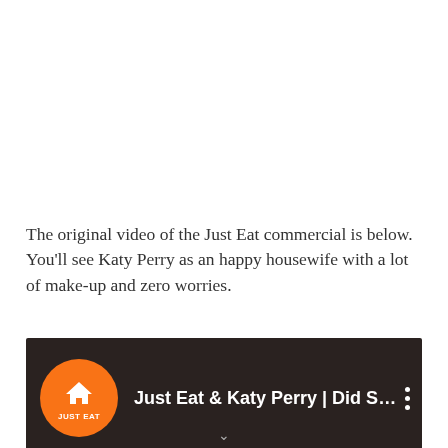The original video of the Just Eat commercial is below. You'll see Katy Perry as an happy housewife with a lot of make-up and zero worries.
[Figure (screenshot): YouTube video thumbnail showing Just Eat & Katy Perry | Did Someb... with orange Just Eat logo on left and partial video frame on right]